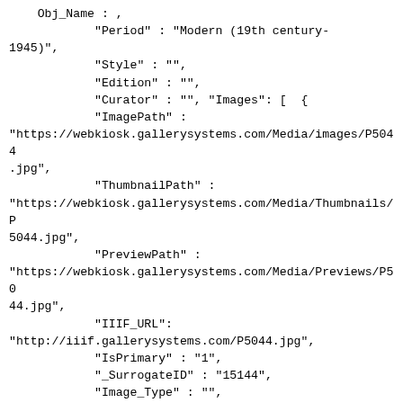Obj_Name : ,
            "Period" : "Modern (19th century-1945)",
            "Style" : "",
            "Edition" : "",
            "Curator" : "", "Images": [  {
            "ImagePath" :
"https://webkiosk.gallerysystems.com/Media/images/P5044.jpg",
            "ThumbnailPath" :
"https://webkiosk.gallerysystems.com/Media/Thumbnails/P5044.jpg",
            "PreviewPath" :
"https://webkiosk.gallerysystems.com/Media/Previews/P5044.jpg",
            "IIIF_URL":
"http://iiif.gallerysystems.com/P5044.jpg",
            "IsPrimary" : "1",
            "_SurrogateID" : "15144",
            "Image_Type" : "",
            "Photo_Credit" : "",
            "Remarks" : "",
            "View" : "" } , ]
            },{
            "embark_ID" : 4756,
            "URL" :
"https://webkiosk.gallerysystems.com/Objects-1/info/4756",
            "Disp_Access_No" : "P3117",
            "_AccNumSort1" : "",
            "Disp_Create_DT" : "" : 1000",